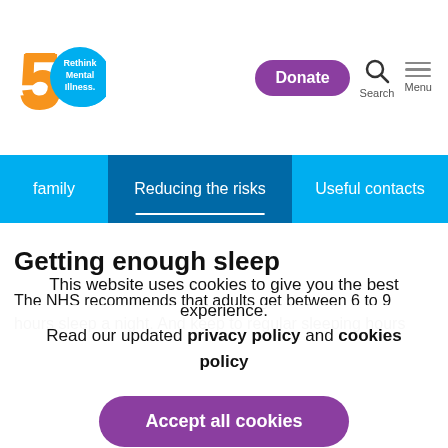[Figure (logo): Rethink Mental Illness 50th anniversary logo — orange '50' with blue circle and white text 'Rethink Mental Illness.']
Donate  Search  Menu
family  Reducing the risks  Useful contacts
Getting enough sleep
The NHS recommends that adults get between 6 to 9 hours sleep a night. And keep to regular sleeping hours
This website uses cookies to give you the best experience.
Read our updated privacy policy and cookies policy
Accept all cookies
Accept all mandatory cookies